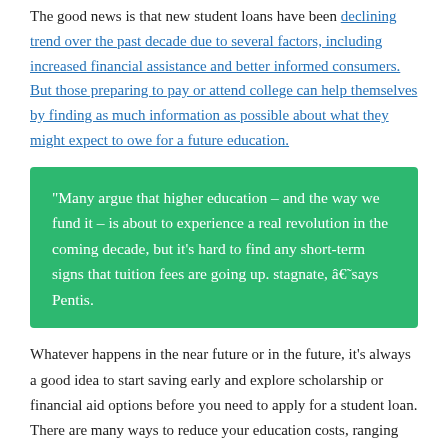The good news is that new student loans have been declining trend over the past decade due to several factors, including increased financial assistance and better informed consumers. But those preparing to pay or attend college can help themselves by finding as much information as possible about what they might expect to owe for a future education.
“Many argue that higher education – and the way we fund it – is about to experience a real revolution in the coming decade, but it’s hard to find any short-term signs that tuition fees are going up. stagnate, â€‘says Pentis.
Whatever happens in the near future or in the future, it’s always a good idea to start saving early and explore scholarship or financial aid options before you need to apply for a student loan. There are many ways to reduce your education costs, ranging from finding more affordable housing to renting instead of borrowing textbooks. While waiting for major changes from colleges or governments